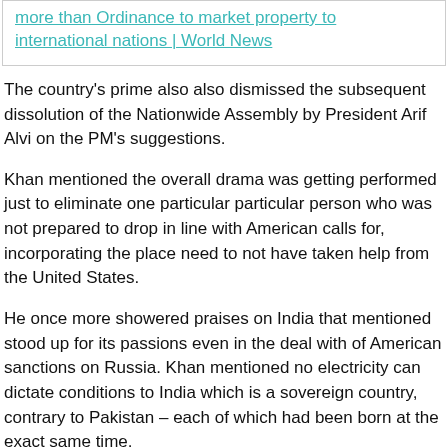more than Ordinance to market property to international nations | World News
The country's prime also also dismissed the subsequent dissolution of the Nationwide Assembly by President Arif Alvi on the PM's suggestions.
Khan mentioned the overall drama was getting performed just to eliminate one particular particular person who was not prepared to drop in line with American calls for, incorporating the place need to not have taken help from the United States.
He once more showered praises on India that mentioned stood up for its passions even in the deal with of American sanctions on Russia. Khan mentioned no electricity can dictate conditions to India which is a sovereign country, contrary to Pakistan – each of which had been born at the exact same time.
TAGS  IMRAN KHAN  PAKISTAN SUPREME COURT